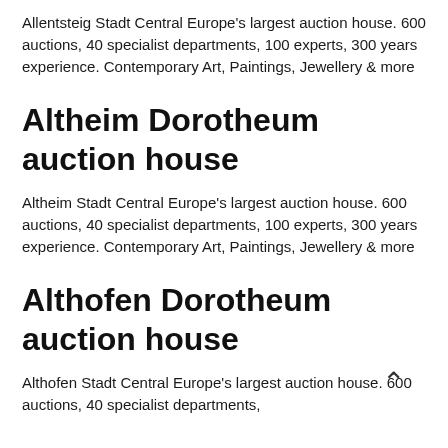Allentsteig Stadt Central Europe's largest auction house. 600 auctions, 40 specialist departments, 100 experts, 300 years experience. Contemporary Art, Paintings, Jewellery & more
Altheim Dorotheum auction house
Altheim Stadt Central Europe's largest auction house. 600 auctions, 40 specialist departments, 100 experts, 300 years experience. Contemporary Art, Paintings, Jewellery & more
Althofen Dorotheum auction house
Althofen Stadt Central Europe's largest auction house. 600 auctions, 40 specialist departments,